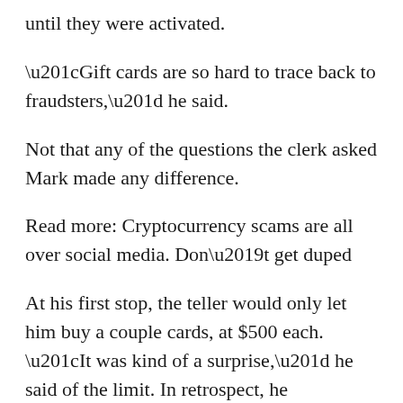until they were activated.
“Gift cards are so hard to trace back to fraudsters,” he said.
Not that any of the questions the clerk asked Mark made any difference.
Read more: Cryptocurrency scams are all over social media. Don’t get duped
At his first stop, the teller would only let him buy a couple cards, at $500 each. “It was kind of a surprise,” he said of the limit. In retrospect, he appreciates it now.
But the scammers convinced Mark to go to more